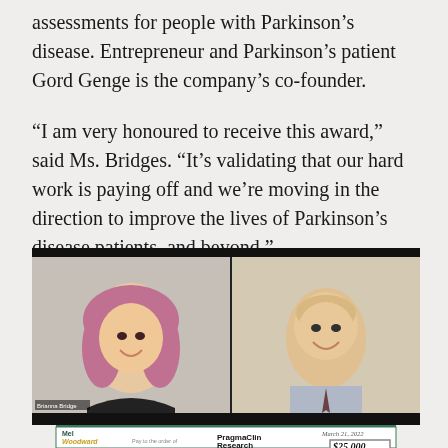assessments for people with Parkinson's disease. Entrepreneur and Parkinson's patient Gord Genge is the company's co-founder.
“I am very honoured to receive this award,” said Ms. Bridges. “It’s validating that our hard work is paying off and we’re moving in the direction to improve the lives of Parkinson’s disease patients, and beyond.”
[Figure (photo): Screenshot of a video call showing two people. On the left is a woman with pink/purple hair smiling, labeled 'Brianna Bridge'. On the right is an older man in a suit and tie smiling. Below the video call is a check from the Mel Woodward Cup dated March 21, 2022, made out to PragmaClin Research for $25,000.]